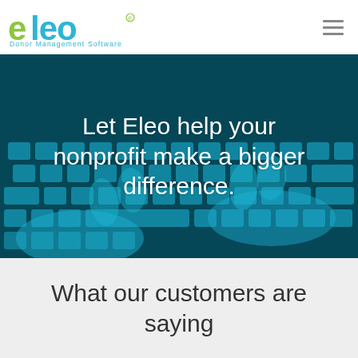[Figure (logo): Eleo Donor Management Software logo — 'eleo' in teal/blue with a green 'e' and green registered trademark dot, subtitle 'Donor Management Software' in teal]
[Figure (illustration): Navigation hamburger menu icon (three horizontal lines) in the top-right corner of the header]
[Figure (photo): Hero banner image: hands typing on a laptop keyboard with a blue/cyan color overlay tinting the photo]
Let Eleo help your nonprofit make a bigger difference.
What our customers are saying